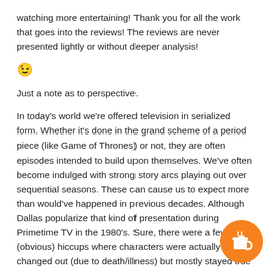watching more entertaining! Thank you for all the work that goes into the reviews! The reviews are never presented lightly or without deeper analysis!
😉
Just a note as to perspective.
In today's world we're offered television in serialized form. Whether it's done in the grand scheme of a period piece (like Game of Thrones) or not, they are often episodes intended to build upon themselves. We've often become indulged with strong story arcs playing out over sequential seasons. These can cause us to expect more than would've happened in previous decades. Although Dallas popularize that kind of presentation during Primetime TV in the 1980's. Sure, there were a few (obvious) hiccups where characters were actually changed out (due to death/illness) but mostly stayed true to its continuity. Dallas actually had a complete storyline prefabbed from it's initiation to conclusion, which w through just before Mr. Hagman's death, when the fi played out on the TNT Network. Fortunate indeed for decade old f